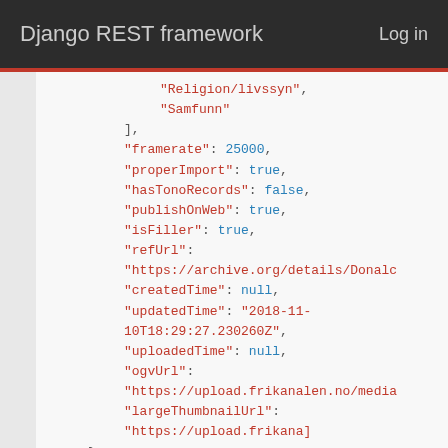Django REST framework   Log in
"Religion/livssyn",
"Samfunn"
],
"framerate": 25000,
"properImport": true,
"hasTonoRecords": false,
"publishOnWeb": true,
"isFiller": true,
"refUrl": "https://archive.org/details/Donald...",
"createdTime": null,
"updatedTime": "2018-11-10T18:29:27.230260Z",
"uploadedTime": null,
"ogvUrl": "https://upload.frikanalen.no/media...",
"largeThumbnailUrl": "https://upload.frikanal..."
},
{
"id": 625484,
"name": "TED - Johann Hari: Everything you th...",
"header": "What really causes addiction — to...",
"description": null,
"files": {
"original": "https://upload.frikanalen.no...",
"broadcast": "https://upload.frikanalen.n..."